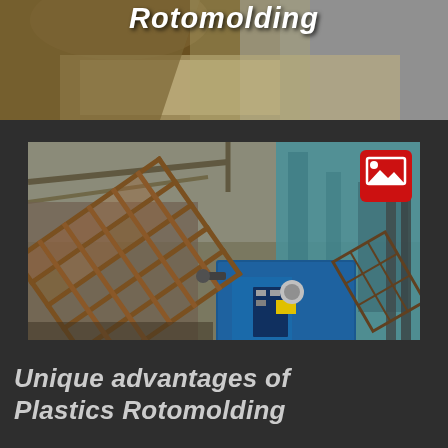Rotomolding
[Figure (photo): Industrial rotomolding machine in a factory setting. A large tilted metal cage/mold frame is visible at an angle, with a blue industrial oven/machine body in the background. A red image icon overlay appears in the top-right corner of the photo.]
Unique advantages of Plastics Rotomolding